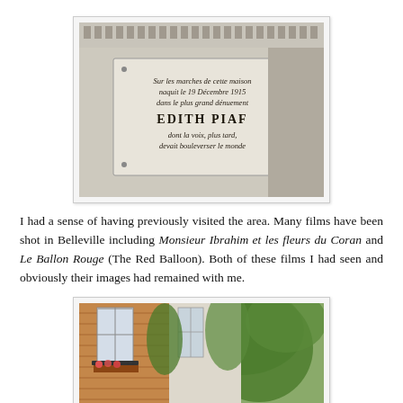[Figure (photo): A stone commemorative plaque on a building wall reading in French: 'Sur les marches de cette maison naquit le 19 Décembre 1915 dans le plus grand dénuement EDITH PIAF dont la voix, plus tard, devait bouleverser le monde']
I had a sense of having previously visited the area. Many films have been shot in Belleville including Monsieur Ibrahim et les fleurs du Coran and Le Ballon Rouge (The Red Balloon). Both of these films I had seen and obviously their images had remained with me.
[Figure (photo): A brick building facade with tall windows, balconies with iron railings, and lush green ivy and trees growing around it.]